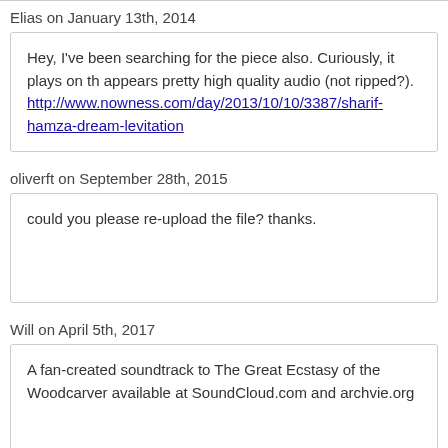Elias on January 13th, 2014
Hey, I've been searching for the piece also. Curiously, it plays on th appears pretty high quality audio (not ripped?). http://www.nowness.com/day/2013/10/10/3387/sharif-hamza-dream-levitation
oliverft on September 28th, 2015
could you please re-upload the file? thanks.
Will on April 5th, 2017
A fan-created soundtrack to The Great Ecstasy of the Woodcarver available at SoundCloud.com and archvie.org
Sharon on August 10th, 2018